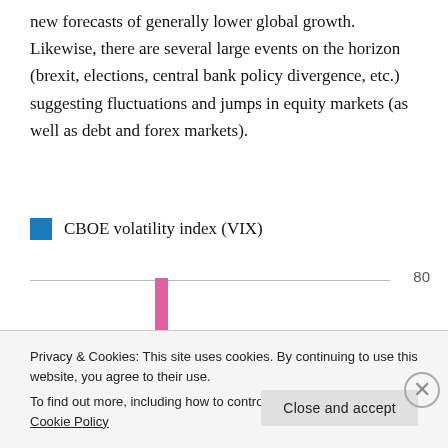new forecasts of generally lower global growth. Likewise, there are several large events on the horizon (brexit, elections, central bank policy divergence, etc.) suggesting fluctuations and jumps in equity markets (as well as debt and forex markets).
CBOE volatility index (VIX)
[Figure (continuous-plot): Partial view of CBOE VIX chart showing a tall pink/magenta spike, a horizontal gridline at 80, and annotations: One day: ▲ 16.3%, One week: ▲ 26.4%]
Privacy & Cookies: This site uses cookies. By continuing to use this website, you agree to their use.
To find out more, including how to control cookies, see here: Cookie Policy